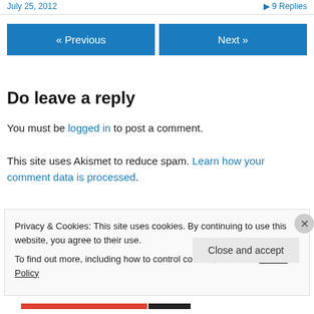July 25, 2012   ▶ 9 Replies
« Previous   Next »
Do leave a reply
You must be logged in to post a comment.
This site uses Akismet to reduce spam. Learn how your comment data is processed.
Privacy & Cookies: This site uses cookies. By continuing to use this website, you agree to their use. To find out more, including how to control cookies, see here: Cookie Policy
Close and accept